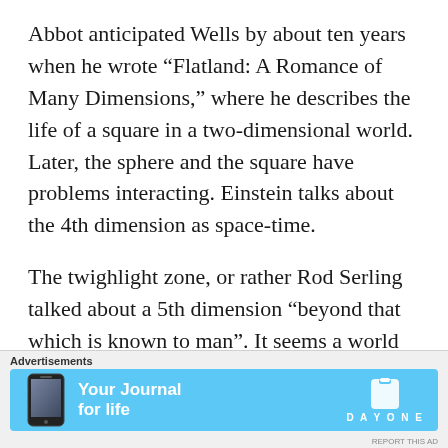Abbot anticipated Wells by about ten years when he wrote “Flatland: A Romance of Many Dimensions,” where he describes the life of a square in a two-dimensional world. Later, the sphere and the square have problems interacting. Einstein talks about the 4th dimension as space-time.
The twighlight zone, or rather Rod Serling talked about a 5th dimension “beyond that which is known to man”. It seems a world of improbability but when we move to a higher dimension, we can look down on the jumbled
Advertisements
[Figure (other): Advertisement banner for Day One journal app. Light blue background with phone image on left, bold white text 'Your Journal for life' in center, and Day One logo on the right.]